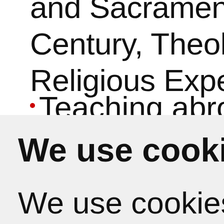and Sacrament; Orth Century, Theology as Religious Experience
Teaching abroad: VU
We use cookies
We use cookies and